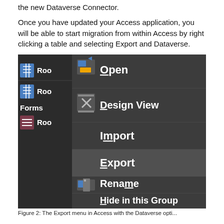the new Dataverse Connector.
Once you have updated your Access application, you will be able to start migration from within Access by right clicking a table and selecting Export and Dataverse.
[Figure (screenshot): A screenshot showing a Microsoft Access right-click context menu with options: Open, Design View, Import, Export (highlighted), Rename, Hide in this Group. The left panel shows a dark navigation pane with table icons labeled 'Roo' (truncated) and a 'Forms' section.]
Figure 2: The Export menu in Access with the Dataverse opti...